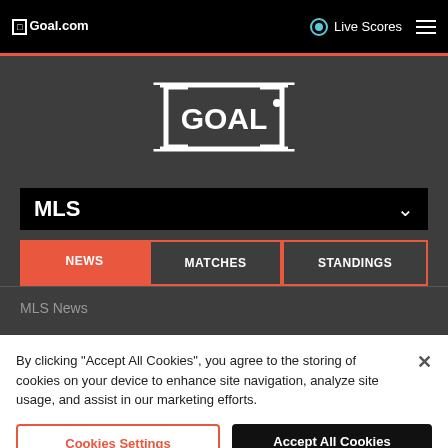Goal.com — Live Scores
[Figure (logo): GOAL logo — white text in a rectangular bracket frame on dark background]
MLS
NEWS  MATCHES  STANDINGS
MLS News
By clicking "Accept All Cookies", you agree to the storing of cookies on your device to enhance site navigation, analyze site usage, and assist in our marketing efforts.
Cookies Settings    Accept All Cookies